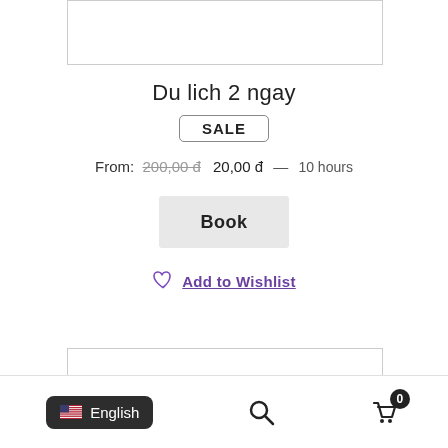[Figure (other): Top image placeholder box]
Du lich 2 ngay
SALE
From: 200,00 đ  20,00 đ — 10 hours
Book
Add to Wishlist
[Figure (other): Bottom image placeholder box]
English | Search | Cart (0)